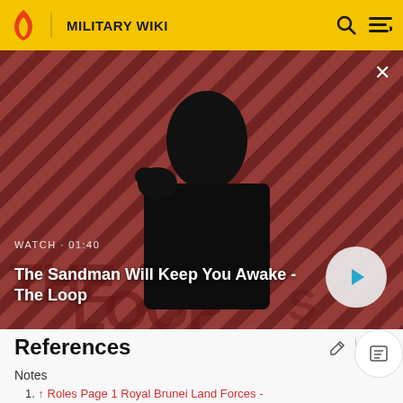MILITARY WIKI
[Figure (screenshot): Video thumbnail showing a dark-dressed figure with a crow on their shoulder against a red and black diagonal stripe background. Overlay text reads WATCH · 01:40 and title The Sandman Will Keep You Awake - The Loop, with a play button.]
References
Notes
↑ Roles Page 1 Royal Brunei Land Forces -